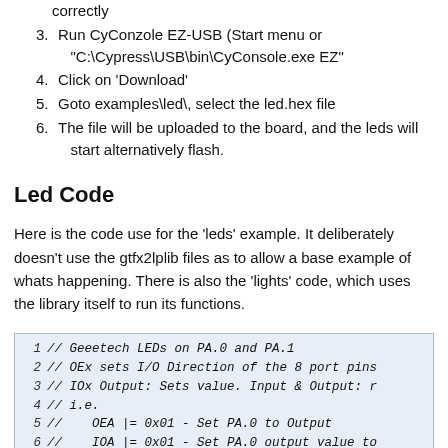correctly
3. Run CyConzole EZ-USB (Start menu or "C:\Cypress\USB\bin\CyConsole.exe EZ"
4. Click on 'Download'
5. Goto examples\led\, select the led.hex file
6. The file will be uploaded to the board, and the leds will start alternatively flash.
Led Code
Here is the code use for the 'leds' example. It deliberately doesn't use the gtfx2lplib files as to allow a base example of whats happening. There is also the 'lights' code, which uses the library itself to run its functions.
[Figure (screenshot): Code block showing lines 1-6 of LED example code with comments about Geeetech LEDs on PA.0 and PA.1, OEx I/O direction, IOx output value settings]